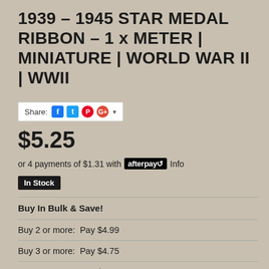1939 – 1945 STAR MEDAL RIBBON – 1 x METER | MINIATURE | WORLD WAR II | WWII
[Figure (other): Share buttons widget with Facebook, Twitter, Pinterest, Google+ icons and a dropdown arrow]
$5.25
or 4 payments of $1.31 with afterpay Info
In Stock
| Buy In Bulk & Save! |
| Buy 2 or more:  Pay $4.99 |
| Buy 3 or more:  Pay $4.75 |
| Buy 4 or more:  Pay $4.50 |
| Buy 5 or more:  Pay $4.25 |